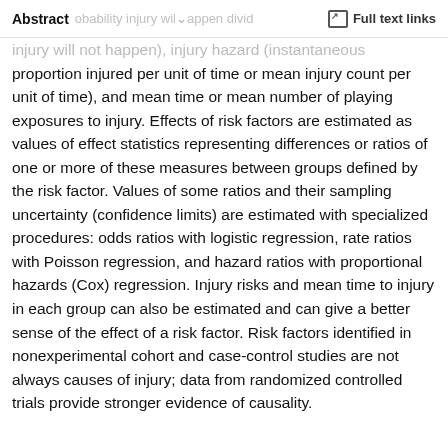Abstract | Full text links
injury will not happen), injury hazard (instantaneous proportion injured per unit of time or mean injury count per unit of time), and mean time or mean number of playing exposures to injury. Effects of risk factors are estimated as values of effect statistics representing differences or ratios of one or more of these measures between groups defined by the risk factor. Values of some ratios and their sampling uncertainty (confidence limits) are estimated with specialized procedures: odds ratios with logistic regression, rate ratios with Poisson regression, and hazard ratios with proportional hazards (Cox) regression. Injury risks and mean time to injury in each group can also be estimated and can give a better sense of the effect of a risk factor. Risk factors identified in nonexperimental cohort and case-control studies are not always causes of injury; data from randomized controlled trials provide stronger evidence of causality.